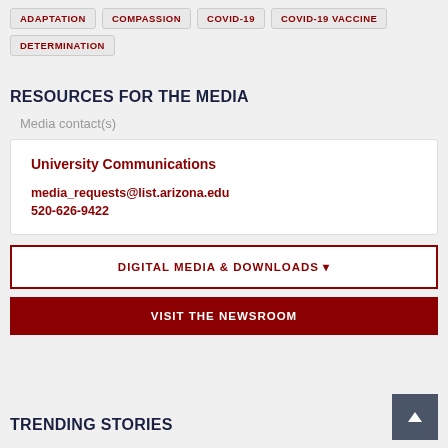ADAPTATION
COMPASSION
COVID-19
COVID-19 VACCINE
DETERMINATION
RESOURCES FOR THE MEDIA
Media contact(s)
University Communications
media_requests@list.arizona.edu
520-626-9422
DIGITAL MEDIA & DOWNLOADS
VISIT THE NEWSROOM
TRENDING STORIES